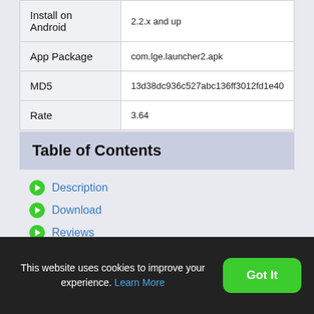| Install on Android | 2.2.x and up |
| App Package | com.lge.launcher2.apk |
| MD5 | 13d38dc936c527abc136ff3012fd1e40 |
| Rate | 3.64 |
Table of Contents
Description
Download
Reviews
ChangeLog
Older Versions
Screens
This website uses cookies to improve your experience. Learn More